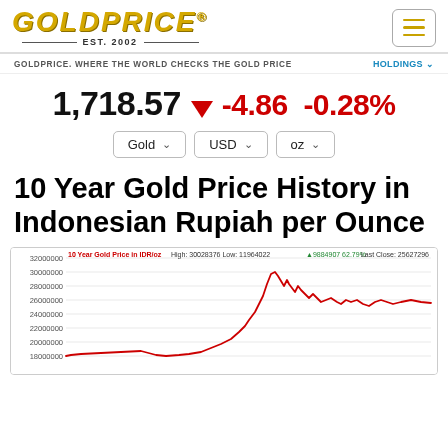[Figure (logo): GoldPrice.org logo with gold italic text, EST. 2002, and horizontal rules]
GOLDPRICE. WHERE THE WORLD CHECKS THE GOLD PRICE
HOLDINGS
1,718.57 ▼ -4.86 -0.28%
Gold   USD   oz
10 Year Gold Price History in Indonesian Rupiah per Ounce
[Figure (line-chart): 10-year line chart of gold price in IDR/oz showing upward trend from ~11M to ~26M IDR with peak near 30M]